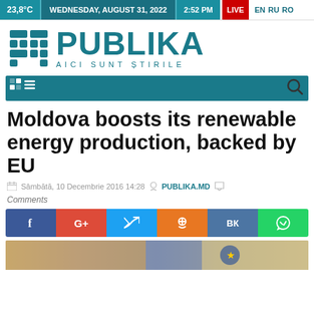23,8°C  WEDNESDAY, AUGUST 31, 2022  2:52 PM  LIVE  EN RU RO
[Figure (logo): Publika logo with teal grid icon and text PUBLIKA AICI SUNT ȘTIRILE]
[Figure (screenshot): Navigation bar with teal background, grid and hamburger menu icons, and search icon]
Moldova boosts its renewable energy production, backed by EU
Sâmbătă, 10 Decembrie 2016 14:28  PUBLIKA.MD
Comments
[Figure (infographic): Social sharing buttons: Facebook, Google+, Twitter, Odnoklassniki, VKontakte, WhatsApp]
[Figure (photo): Partial photo visible at bottom of page]